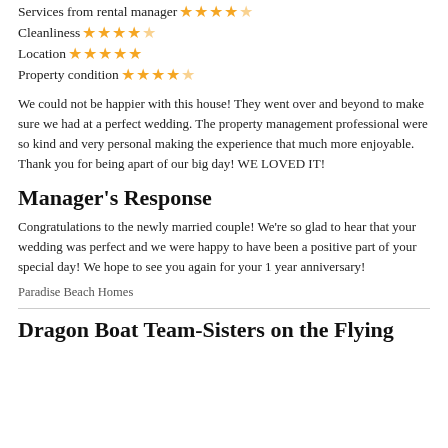Services from rental manager ☆☆☆☆☆
Cleanliness ★★★★☆
Location ★★★★★
Property condition ★★★★☆
We could not be happier with this house! They went over and beyond to make sure we had at a perfect wedding. The property management professional were so kind and very personal making the experience that much more enjoyable. Thank you for being apart of our big day! WE LOVED IT!
Manager's Response
Congratulations to the newly married couple! We're so glad to hear that your wedding was perfect and we were happy to have been a positive part of your special day! We hope to see you again for your 1 year anniversary!
Paradise Beach Homes
Dragon Boat Team-Sisters on the Flying